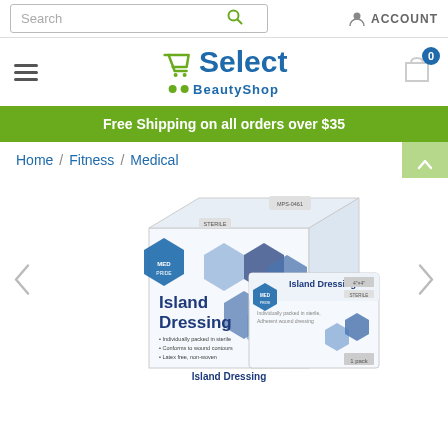[Figure (screenshot): Search bar with magnifying glass icon and Account button in top navigation bar]
[Figure (logo): eSelect BeautyShop logo with shopping cart icon showing 0 items and hamburger menu]
Free Shipping on all orders over $35
Home / Fitness / Medical
[Figure (photo): Island Dressing medical product box and individual packet by MedPride, showing box of 25 island dressings and single sterile island dressing packet]